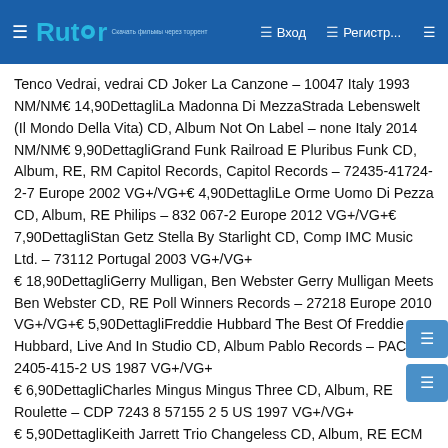Rutor — Вход — Регистр...
Tenco Vedrai, vedrai CD Joker La Canzone – 10047 Italy 1993 NM/NM€ 14,90DettagliLa Madonna Di MezzaStrada Lebenswelt (Il Mondo Della Vita) CD, Album Not On Label – none Italy 2014 NM/NM€ 9,90DettagliGrand Funk Railroad E Pluribus Funk CD, Album, RE, RM Capitol Records, Capitol Records – 72435-41724-2-7 Europe 2002 VG+/VG+€ 4,90DettagliLe Orme Uomo Di Pezza CD, Album, RE Philips – 832 067-2 Europe 2012 VG+/VG+€ 7,90DettagliStan Getz Stella By Starlight CD, Comp IMC Music Ltd. – 73112 Portugal 2003 VG+/VG+ € 18,90DettagliGerry Mulligan, Ben Webster Gerry Mulligan Meets Ben Webster CD, RE Poll Winners Records – 27218 Europe 2010 VG+/VG+€ 5,90DettagliFreddie Hubbard The Best Of Freddie Hubbard, Live And In Studio CD, Album Pablo Records – PACD-2405-415-2 US 1987 VG+/VG+ € 6,90DettagliCharles Mingus Mingus Three CD, Album, RE Roulette – CDP 7243 8 57155 2 5 US 1997 VG+/VG+ € 5,90DettagliKeith Jarrett Trio Changeless CD, Album, RE ECM Records, ECM Records – ECM 1392 Germany 0 NM/NM€ 14,90DettagliOrnette Coleman Sound Museum –